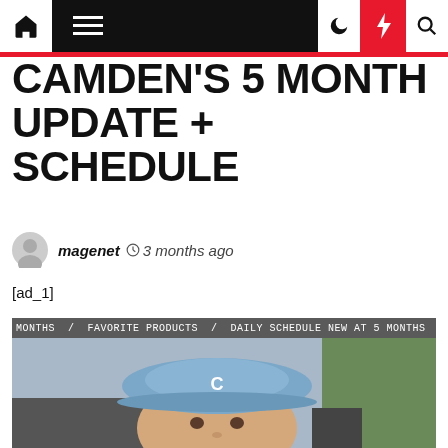Navigation bar with home, menu, dark mode, lightning/breaking news, and search icons
CAMDEN'S 5 MONTH UPDATE + SCHEDULE
magenet  3 months ago
[ad_1]
[Figure (photo): Baby wearing a blue flat cap / newsboy hat, sitting in a stroller. A ticker/banner at top reads: MONTHS / FAVORITE PRODUCTS / DAILY SCHEDULE NEW AT 5 MONTHS / FAVORITE]